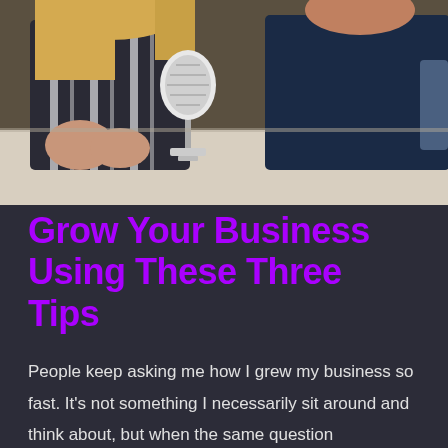[Figure (photo): Two people sitting at a white table with a white USB microphone (Blue Yeti style) between them. On the left is a woman with blonde hair wearing a black and white striped top. On the right is a man wearing a dark navy blue polo shirt with what appears to be a 'Splunk' logo. They appear to be recording a podcast.]
Grow Your Business Using These Three Tips
People keep asking me how I grew my business so fast. It's not something I necessarily sit around and think about, but when the same question